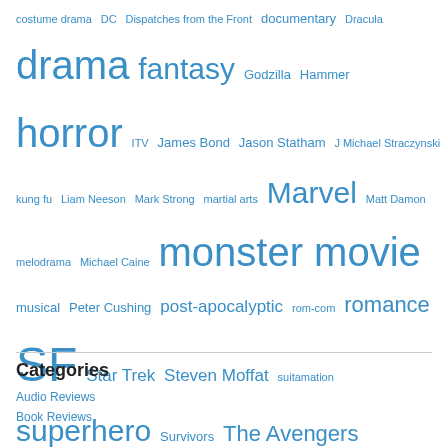costume drama DC Dispatches from the Front documentary Dracula drama fantasy Godzilla Hammer horror ITV James Bond Jason Statham J Michael Straczynski kung fu Liam Neeson Mark Strong martial arts Marvel Matt Damon melodrama Michael Caine monster movie musical Peter Cushing post-apocalyptic rom-com romance SF Star Trek Steven Moffat suitamation superhero Survivors The Avengers thriller Tom Cruise Tom Hanks true story (?) vampires western Woody Allen
Categories
Audio Reviews
Book Reviews